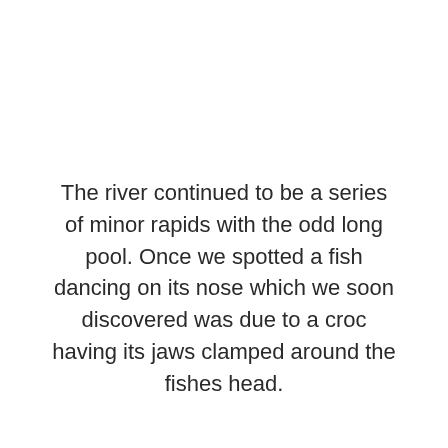The river continued to be a series of minor rapids with the odd long pool. Once we spotted a fish dancing on its nose which we soon discovered was due to a croc having its jaws clamped around the fishes head.